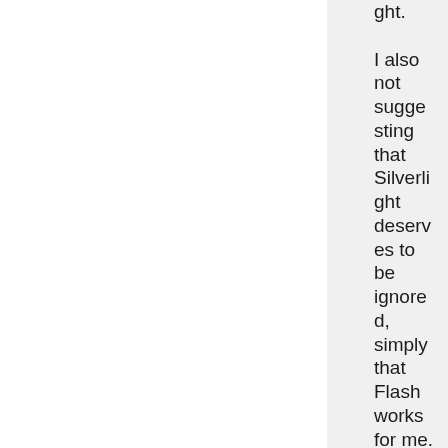ght. I also not suggesting that Silverlight deserves to be ignored, simply that Flash works for me. I don't think once